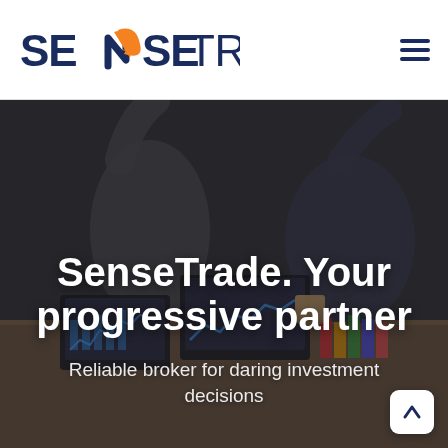SenseTrade
[Figure (photo): Office scene with professionals at a desk with laptops showing financial charts, dark overlay with hero text overlay]
SenseTrade. Your progressive partner
Reliable broker for daring investment decisions